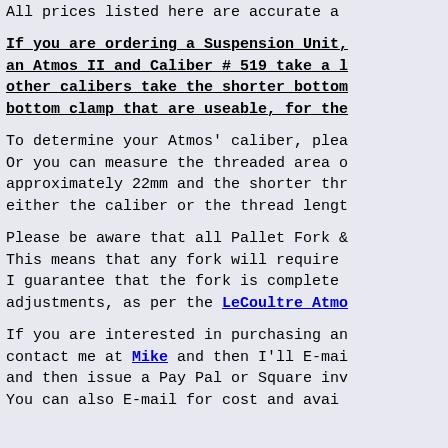All prices listed here are accurate a
If you are ordering a Suspension Unit, an Atmos II and Caliber # 519 take a l other calibers take the shorter bottom bottom clamp that are useable, for the
To determine your Atmos' caliber, plea Or you can measure the threaded area o approximately 22mm and the shorter thr either the caliber or the thread lengt
Please be aware that all Pallet Fork & This means that any fork will require I guarantee that the fork is complete adjustments, as per the LeCoultre Atmo
If you are interested in purchasing an contact me at Mike and then I'll E-mai and then issue a Pay Pal or Square inv You can also E-mail for cost and avai